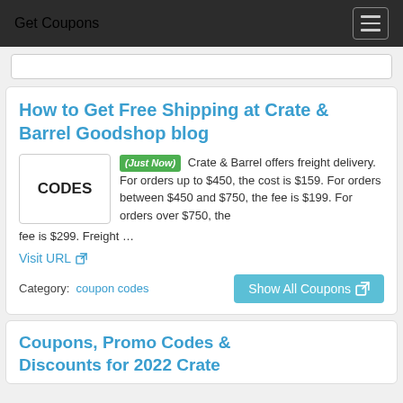Get Coupons
How to Get Free Shipping at Crate & Barrel Goodshop blog
(Just Now) Crate & Barrel offers freight delivery. For orders up to $450, the cost is $159. For orders between $450 and $750, the fee is $199. For orders over $750, the fee is $299. Freight …
Visit URL
Category: coupon codes
Coupons, Promo Codes & Discounts for 2022 Crate